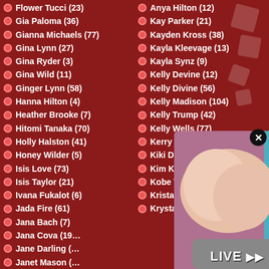Flower Tucci (23)
Gia Paloma (36)
Gianna Michaels (77)
Gina Lynn (27)
Gina Ryder (3)
Gina Wild (11)
Ginger Lynn (58)
Hanna Hilton (4)
Heather Brooke (7)
Hitomi Tanaka (70)
Holly Halston (41)
Honey Wilder (5)
Isis Love (73)
Isis Taylor (21)
Ivana Fukalot (6)
Jada Fire (61)
Jana Bach (7)
Jana Cova (19…
Jane Darling (…
Janet Mason (…
Janine Lindem…
Anya Hilton (12)
Kay Parker (21)
Kayden Kross (38)
Kayla Kleevage (13)
Kayla Synz (9)
Kelly Devine (12)
Kelly Divine (56)
Kelly Madison (104)
Kelly Trump (42)
Kelly Wells (77)
Kerry Marie (2)
Kiki Daire (63)
Kim Kardashian (51)
Kobe Tai (7)
Kristal Summers (36)
Krystal De Boor (14)
[Figure (photo): Partially visible photo at bottom right corner, overlapping the list. A close-up body image with teal/blue background edge and a LIVE label.]